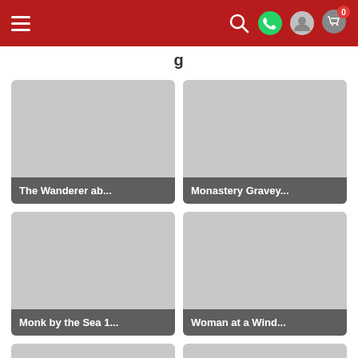Navigation bar with hamburger menu, search, WhatsApp, profile, and cart icons
[Figure (screenshot): Product card image placeholder (grey) with label: The Wanderer ab...]
The Wanderer ab...
[Figure (screenshot): Product card image placeholder (grey) with label: Monastery Gravey...]
Monastery Gravey...
[Figure (screenshot): Product card image placeholder (grey) with label: Monk by the Sea 1...]
Monk by the Sea 1...
[Figure (screenshot): Product card image placeholder (grey) with label: Woman at a Wind...]
Woman at a Wind...
[Figure (screenshot): Partial product card image placeholder (grey) — bottom of page, left]
[Figure (screenshot): Partial product card image placeholder (grey) — bottom of page, right]